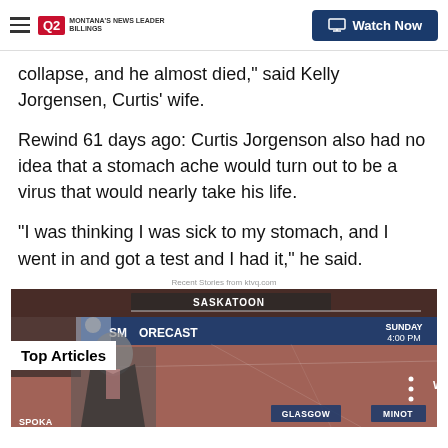Q2 MONTANAS NEWS LEADER BILLINGS | Watch Now
collapse, and he almost died," said Kelly Jorgensen, Curtis' wife.
Rewind 61 days ago: Curtis Jorgenson also had no idea that a stomach ache would turn out to be a virus that would nearly take his life.
"I was thinking I was sick to my stomach, and I went in and got a test and I had it," he said.
Recent Stories from ktvq.com
[Figure (screenshot): A weather forecast screenshot showing a map with SASKATOON label, SM ORECAST header, SUNDAY 4:00 PM, GLASGOW, MINOT, SPOKA labels. A man in a suit is partially visible. A 'Top Articles' badge overlays the bottom-left.]